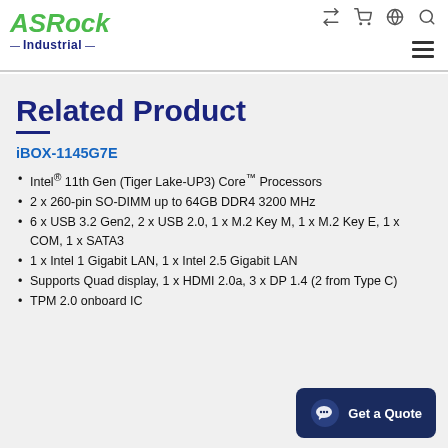ASRock Industrial
Related Product
iBOX-1145G7E
Intel® 11th Gen (Tiger Lake-UP3) Core™ Processors
2 x 260-pin SO-DIMM up to 64GB DDR4 3200 MHz
6 x USB 3.2 Gen2, 2 x USB 2.0, 1 x M.2 Key M, 1 x M.2 Key E, 1 x COM, 1 x SATA3
1 x Intel 1 Gigabit LAN, 1 x Intel 2.5 Gigabit LAN
Supports Quad display, 1 x HDMI 2.0a, 3 x DP 1.4 (2 from Type C)
TPM 2.0 onboard IC
Get a Quote